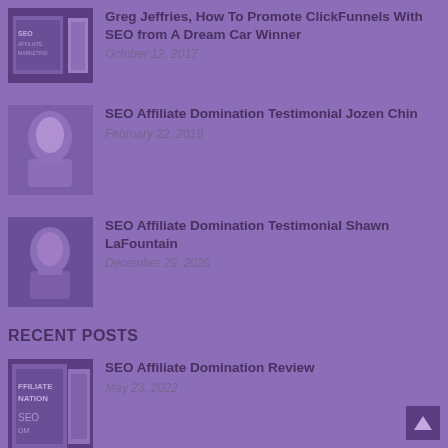Greg Jeffries, How To Promote ClickFunnels With SEO from A Dream Car Winner
October 12, 2017
SEO Affiliate Domination Testimonial Jozen Chin
February 22, 2019
SEO Affiliate Domination Testimonial Shawn LaFountain
December 29, 2020
RECENT POSTS
SEO Affiliate Domination Review
May 23, 2022